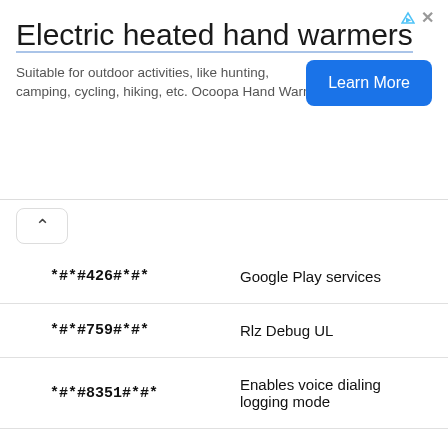[Figure (infographic): Advertisement banner for Ocoopa electric heated hand warmers with 'Learn More' button]
| Code | Description |
| --- | --- |
| *#*#426#*#* | Google Play services |
| *#*#759#*#* | Rlz Debug UL |
| *#*#8351#*#* | Enables voice dialing logging mode |
| ##778 (+call) | Brings up Epst menu |